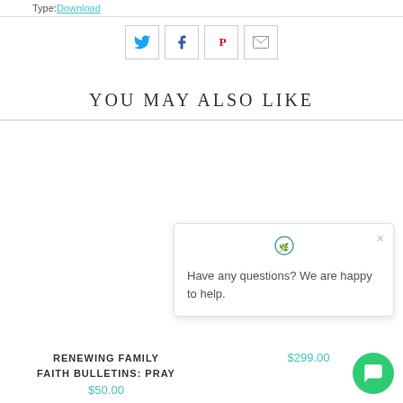Type: Download
[Figure (other): Social sharing icon buttons: Twitter (blue bird), Facebook (f), Pinterest (red P), Email (envelope)]
YOU MAY ALSO LIKE
RENEWING FAMILY FAITH BULLETINS: PRAY $50.00
$299.00
[Figure (other): Chat popup with logo, close button (×), and text 'Have any questions? We are happy to help.']
[Figure (other): Green circular chat button with speech bubble icon]